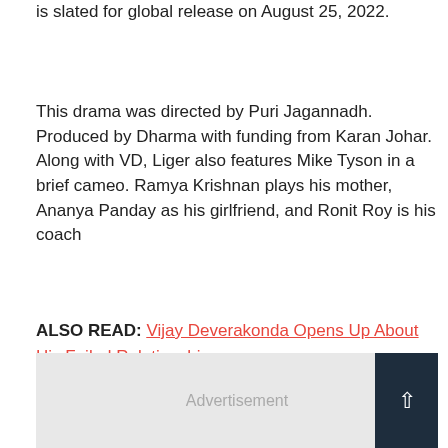is slated for global release on August 25, 2022.
This drama was directed by Puri Jagannadh. Produced by Dharma with funding from Karan Johar. Along with VD, Liger also features Mike Tyson in a brief cameo. Ramya Krishnan plays his mother, Ananya Panday as his girlfriend, and Ronit Roy is his coach
ALSO READ: Vijay Deverakonda Opens Up About His Failed Relationship
[Figure (other): Advertisement bar with scroll-to-top button]